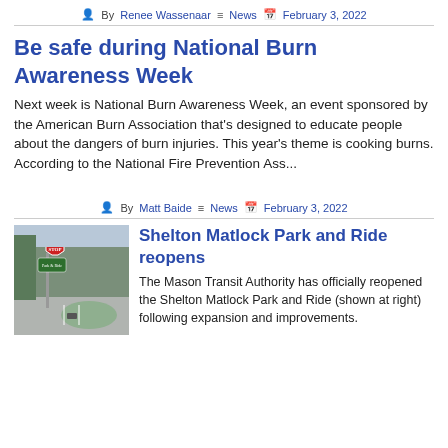By Renee Wassenaar  News  February 3, 2022
Be safe during National Burn Awareness Week
Next week is National Burn Awareness Week, an event sponsored by the American Burn Association that’s designed to educate people about the dangers of burn injuries. This year’s theme is cooking burns. According to the National Fire Prevention Ass...
By Matt Baide  News  February 3, 2022
[Figure (photo): Photo of Shelton Matlock Park and Ride sign with stop sign visible, trees and a parking area in background]
Shelton Matlock Park and Ride reopens
The Mason Transit Authority has officially reopened the Shelton Matlock Park and Ride (shown at right) following expansion and improvements.